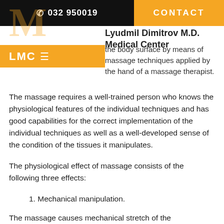032 950019   CONTACT
Lyudmil Dimitrov M.D. Medical Center
the body surface by means of massage techniques applied by the hand of a massage therapist.
The massage requires a well-trained person who knows the physiological features of the individual techniques and has good capabilities for the correct implementation of the individual techniques as well as a well-developed sense of the condition of the tissues it manipulates.
The physiological effect of massage consists of the following three effects:
1. Mechanical manipulation.
The massage causes mechanical stretch of the